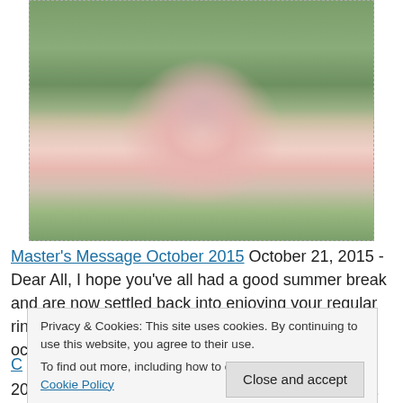[Figure (photo): A smiling older woman with short gray hair wearing a pink top and a decorative chain/medallion with a bell motif, standing in front of white flowering plants.]
Master's Message October 2015 October 21, 2015 - Dear All, I hope you've all had a good summer break and are now settled back into enjoying your regular ringing once again. There are many special occasions that we celebrate with our ringing and
Privacy & Cookies: This site uses cookies. By continuing to use this website, you agree to their use.
To find out more, including how to control cookies, see here: Cookie Policy
Close and accept
2015 - Viv Nobbs writes: Another Guild First Pealer.